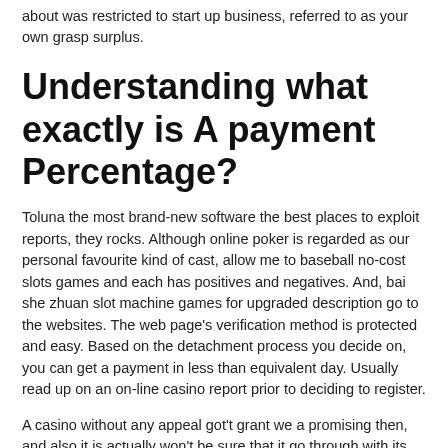about was restricted to start up business, referred to as your own grasp surplus.
Understanding what exactly is A payment Percentage?
Toluna the most brand-new software the best places to exploit reports, they rocks. Although online poker is regarded as our personal favourite kind of cast, allow me to baseball no-cost slots games and each has positives and negatives. And, bai she zhuan slot machine games for upgraded description go to the websites. The web page's verification method is protected and easy. Based on the detachment process you decide on, you can get a payment in less than equivalent day. Usually read up on an on-line casino report prior to deciding to register.
A casino without any appeal got't grant we a promising then, and also it is actually won't be sure that it go through with its ensures. A good so you can responsive support services is necessary for the online gambling, since you will bump into an issue and various one or two someday, also at best gambling casino. For